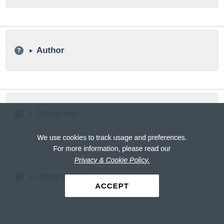Author
Composer
Historical Figure
We use cookies to track usage and preferences. For more information, please read our Privacy & Cookie Policy.
ACCEPT